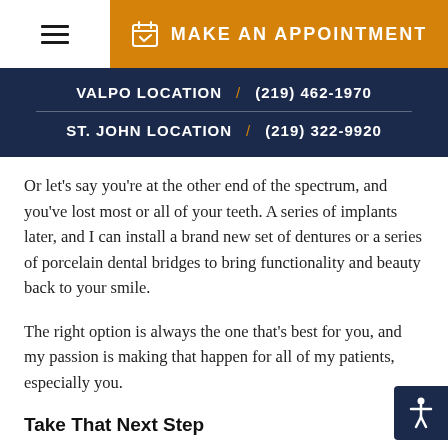MAKE AN APPOINTMENT
VALPO LOCATION / (219) 462-1970 | ST. JOHN LOCATION / (219) 322-9920
Or let’s say you’re at the other end of the spectrum, and you’ve lost most or all of your teeth. A series of implants later, and I can install a brand new set of dentures or a series of porcelain dental bridges to bring functionality and beauty back to your smile.
The right option is always the one that’s best for you, and my passion is making that happen for all of my patients, especially you.
Take That Next Step
You don’t have to put up with being defined by what you lack anymore, because a dental implant can give you and